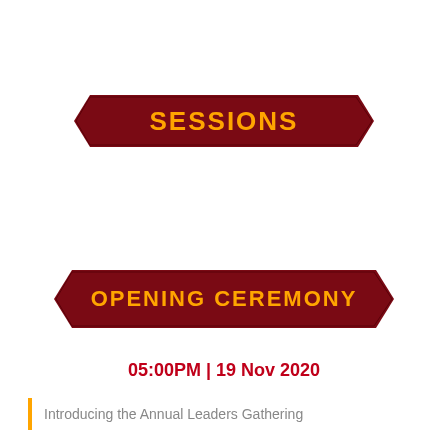SESSIONS
OPENING CEREMONY
05:00PM | 19 Nov 2020
Introducing the Annual Leaders Gathering